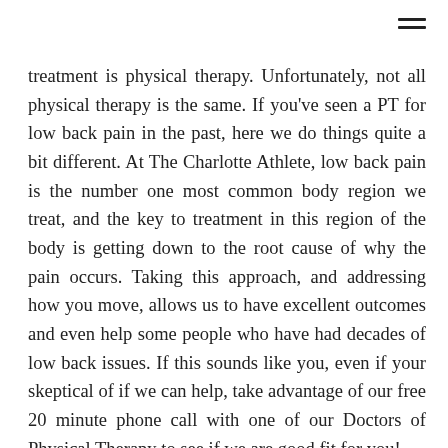treatment is physical therapy. Unfortunately, not all physical therapy is the same. If you've seen a PT for low back pain in the past, here we do things quite a bit different. At The Charlotte Athlete, low back pain is the number one most common body region we treat, and the key to treatment in this region of the body is getting down to the root cause of why the pain occurs. Taking this approach, and addressing how you move, allows us to have excellent outcomes and even help some people who have had decades of low back issues. If this sounds like you, even if your skeptical of if we can help, take advantage of our free 20 minute phone call with one of our Doctors of Physical Therapy to see if we are good fit for you!